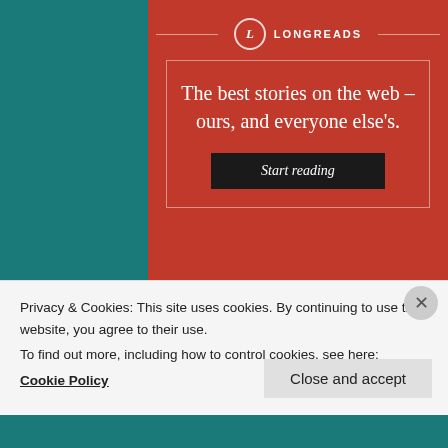[Figure (screenshot): Longreads advertisement banner with red background, circular logo with 'L', decorative border, headline text 'The best stories on the web – ours, and everyone else's.' and a black 'Start reading' button]
REPORT THIS AD
Posted in Artists, The Arts | Tagged Actor, Aging, Celebrity, Cerebral,
Privacy & Cookies: This site uses cookies. By continuing to use this website, you agree to their use.
To find out more, including how to control cookies, see here:
Cookie Policy